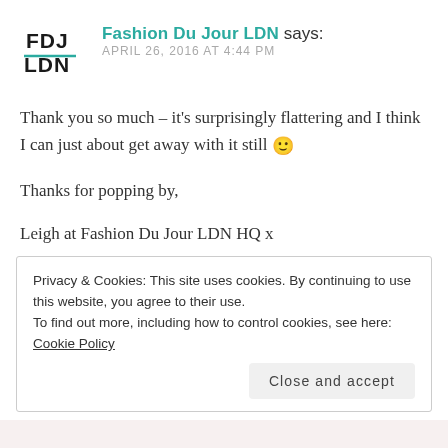[Figure (logo): FDJ LDN logo — bold black text with teal underline decoration]
Fashion Du Jour LDN says:
APRIL 26, 2016 AT 4:44 PM
Thank you so much – it's surprisingly flattering and I think I can just about get away with it still 🙂

Thanks for popping by,

Leigh at Fashion Du Jour LDN HQ x
Privacy & Cookies: This site uses cookies. By continuing to use this website, you agree to their use.
To find out more, including how to control cookies, see here: Cookie Policy

Close and accept